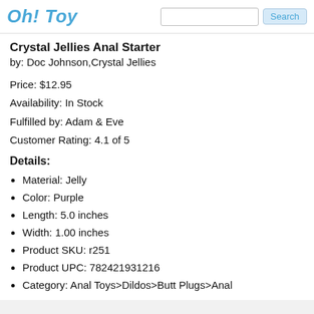Oh! Toy
Crystal Jellies Anal Starter
by: Doc Johnson,Crystal Jellies
Price: $12.95
Availability: In Stock
Fulfilled by: Adam & Eve
Customer Rating: 4.1 of 5
Details:
Material: Jelly
Color: Purple
Length: 5.0 inches
Width: 1.00 inches
Product SKU: r251
Product UPC: 782421931216
Category: Anal Toys>Dildos>Butt Plugs>Anal